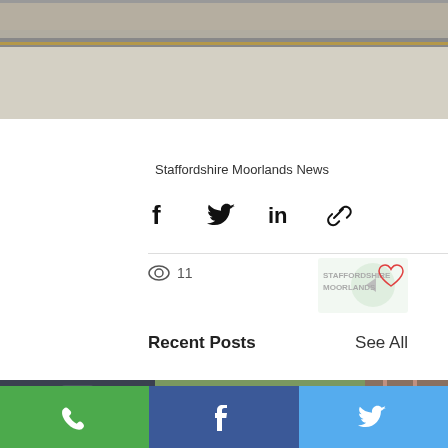[Figure (photo): Top portion of a street-level photo showing someone's feet/legs in white shoes standing on pavement/curb area]
Staffordshire Moorlands News
[Figure (infographic): Social share buttons row: Facebook, Twitter, LinkedIn, Link icons]
11
Recent Posts
See All
[Figure (photo): Bottom strip showing recent post thumbnails: person in dark suit on left, horses at show in center, plaid fabric on right]
[Figure (infographic): Footer social media bar with phone (green), Facebook (blue), and Twitter (light blue) buttons]